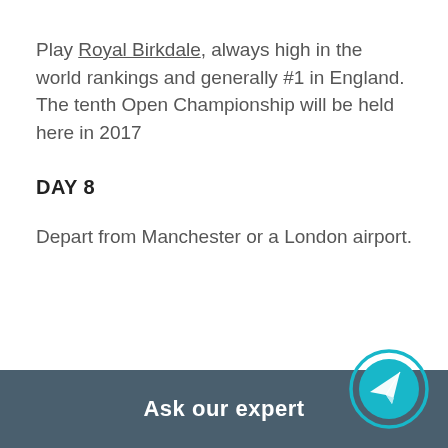Play Royal Birkdale, always high in the world rankings and generally #1 in England. The tenth Open Championship will be held here in 2017
DAY 8
Depart from Manchester or a London airport.
Ask our expert